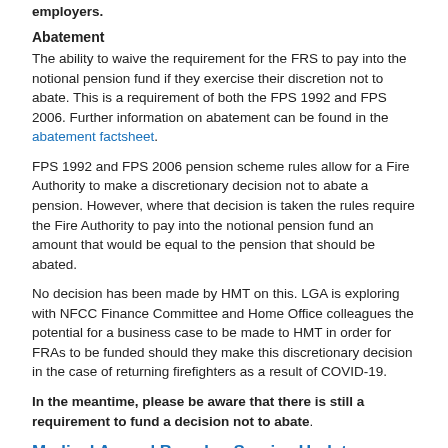employers.
Abatement
The ability to waive the requirement for the FRS to pay into the notional pension fund if they exercise their discretion not to abate. This is a requirement of both the FPS 1992 and FPS 2006. Further information on abatement can be found in the abatement factsheet.
FPS 1992 and FPS 2006 pension scheme rules allow for a Fire Authority to make a discretionary decision not to abate a pension. However, where that decision is taken the rules require the Fire Authority to pay into the notional pension fund an amount that would be equal to the pension that should be abated.
No decision has been made by HMT on this. LGA is exploring with NFCC Finance Committee and Home Office colleagues the potential for a business case to be made to HMT in order for FRAs to be funded should they make this discretionary decision in the case of returning firefighters as a result of COVID-19.
In the meantime, please be aware that there is still a requirement to fund a decision not to abate.
Medical Appeal Boards - Service Update